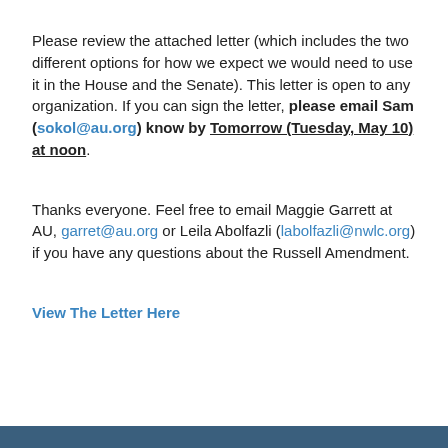Please review the attached letter (which includes the two different options for how we expect we would need to use it in the House and the Senate). This letter is open to any organization. If you can sign the letter, please email Sam (sokol@au.org) know by Tomorrow (Tuesday, May 10) at noon.
Thanks everyone. Feel free to email Maggie Garrett at AU, garret@au.org or Leila Abolfazli (labolfazli@nwlc.org) if you have any questions about the Russell Amendment.
View The Letter Here